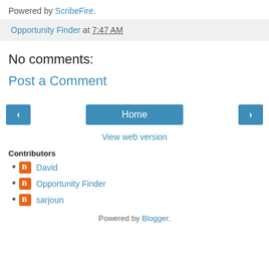Powered by ScribeFire.
Opportunity Finder at 7:47 AM
No comments:
Post a Comment
[Figure (other): Navigation buttons: left arrow, Home, right arrow]
View web version
Contributors
David
Opportunity Finder
sarjoun
Powered by Blogger.